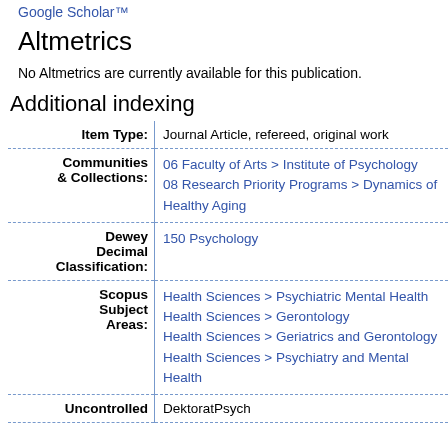Google Scholar™
Altmetrics
No Altmetrics are currently available for this publication.
Additional indexing
| Field | Value |
| --- | --- |
| Item Type: | Journal Article, refereed, original work |
| Communities & Collections: | 06 Faculty of Arts > Institute of Psychology
08 Research Priority Programs > Dynamics of Healthy Aging |
| Dewey Decimal Classification: | 150 Psychology |
| Scopus Subject Areas: | Health Sciences > Psychiatric Mental Health
Health Sciences > Gerontology
Health Sciences > Geriatrics and Gerontology
Health Sciences > Psychiatry and Mental Health |
| Uncontrolled | DektoratPsych |